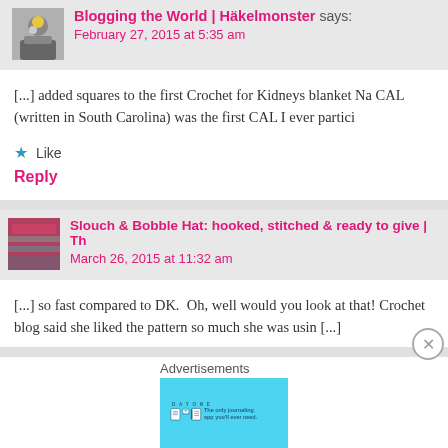Blogging the World | Häkelmonster says:
February 27, 2015 at 5:35 am
[...] added squares to the first Crochet for Kidneys blanket Na CAL (written in South Carolina) was the first CAL I ever partici
★ Like
Reply
Slouch & Bobble Hat: hooked, stitched & ready to give | Th
March 26, 2015 at 11:32 am
[...] so fast compared to DK.  Oh, well would you look at that! Crochet blog said she liked the pattern so much she was usin [...]
Advertisements
[Figure (infographic): Day One journaling app advertisement banner with teal background, showing app icon illustrations and text 'The only journaling app you'll ever need.']